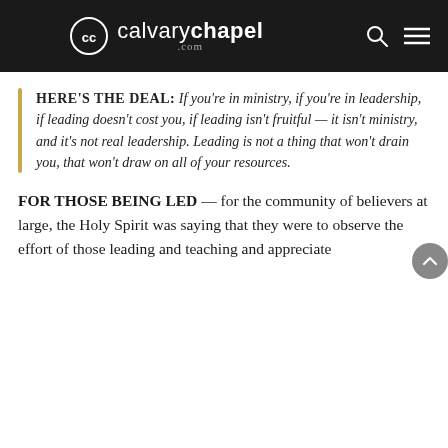calvary chapel .com
HERE'S THE DEAL: If you're in ministry, if you're in leadership, if leading doesn't cost you, if leading isn't fruitful — it isn't ministry, and it's not real leadership. Leading is not a thing that won't drain you, that won't draw on all of your resources.
FOR THOSE BEING LED — for the community of believers at large, the Holy Spirit was saying that they were to observe the effort of those leading and teaching and appreciate